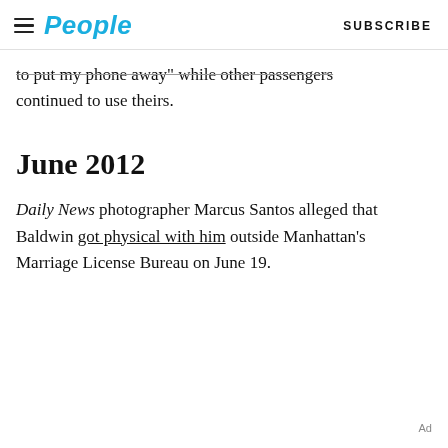People | SUBSCRIBE
to put my phone away while other passengers continued to use theirs.
June 2012
Daily News photographer Marcus Santos alleged that Baldwin got physical with him outside Manhattan's Marriage License Bureau on June 19.
Ad